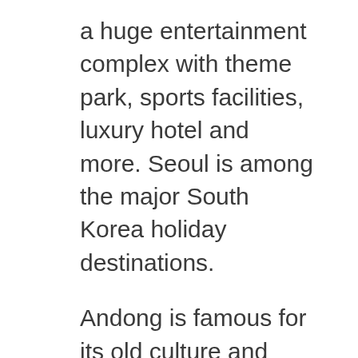a huge entertainment complex with theme park, sports facilities, luxury hotel and more. Seoul is among the major South Korea holiday destinations.
Andong is famous for its old culture and aristocrats. The Andong Folk Village and Folk Museum displays the relics of ancient Korean culture. In the restaurants of Andong you might have traditional Korean food. Through the autumn Mask Dance Festival takes place in Andong. Busan may be the second largest metropolis of South Korea. It really is home to the Busan Tower in Yongdusan Park. Out of this tower you can view the complete city. You can also go to the UN Cemetery where many UN soldiers of